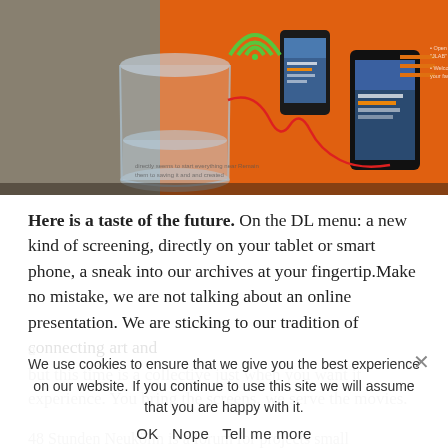[Figure (photo): Photo of a glass of water and orange menu boards with smartphones/tablets showing digital menus, with a red wire/cable visible. Text on boards mentions DL menu and mobile device instructions.]
Here is a taste of the future. On the DL menu: a new kind of screening, directly on your tablet or smart phone, a sneak into our archives at your fingertip.Make no mistake, we are not talking about an online presentation. We are sticking to our tradition of connecting art and
We use cookies to ensure that we give you the best experience on our website. If you continue to use this site we will assume that you are happy with it.
OK   Nope   Tell me more
but this time is a collective just when you want it experience. You bring the screens, we serve the movies.
48 Stunden Neukölln is a forum for projects small